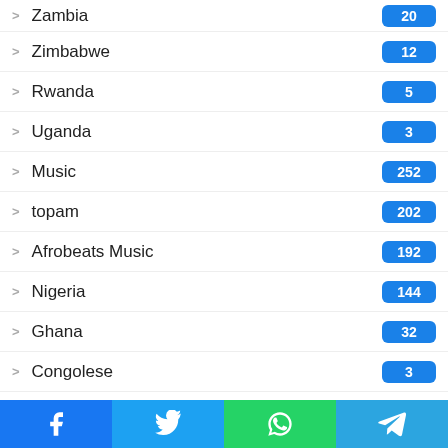Zambia — 20
Zimbabwe — 12
Rwanda — 5
Uganda — 3
Music — 252
topam — 202
Afrobeats Music — 192
Nigeria — 144
Ghana — 32
Congolese — 3
Uncategorized — 119
topsa — 48
Videos — 26
Facebook | Twitter | WhatsApp | Telegram